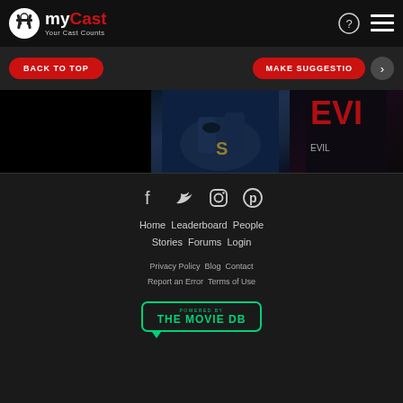myCast - Your Cast Counts
[Figure (screenshot): Navigation bar with BACK TO TOP and MAKE SUGGESTION red buttons, and a right arrow]
[Figure (photo): Movie image strip showing three panels: black panel, Batman vs Superman poster, Evil Dead poster]
[Figure (infographic): Social media icons: Facebook, Twitter, Instagram, Pinterest]
Home   Leaderboard   People   Stories   Forums   Login
Privacy Policy   Blog   Contact   Report an Error   Terms of Use
[Figure (logo): POWERED BY THE MOVIE DB badge in green border]